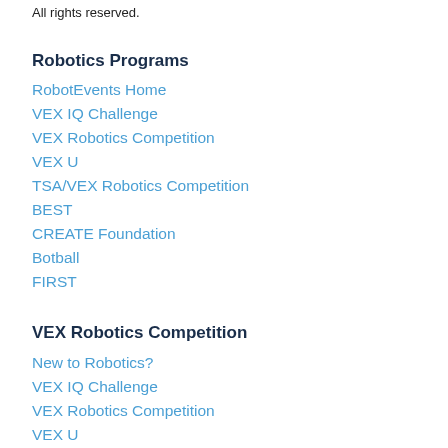All rights reserved.
Robotics Programs
RobotEvents Home
VEX IQ Challenge
VEX Robotics Competition
VEX U
TSA/VEX Robotics Competition
BEST
CREATE Foundation
Botball
FIRST
VEX Robotics Competition
New to Robotics?
VEX IQ Challenge
VEX Robotics Competition
VEX U
VEX Robotics World Championship
Find Local Teams & Events
Event Registration
Event Results
The VEX Competition Alumni Association